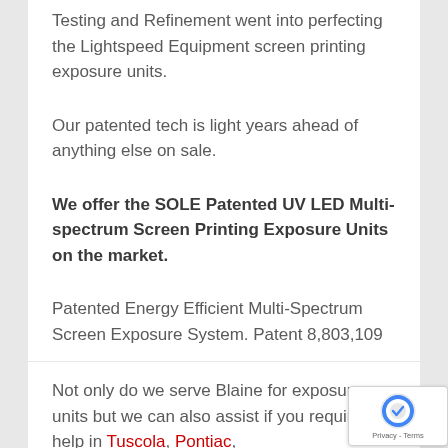Testing and Refinement went into perfecting the Lightspeed Equipment screen printing exposure units.
Our patented tech is light years ahead of anything else on sale.
We offer the SOLE Patented UV LED Multi-spectrum Screen Printing Exposure Units on the market.
Patented Energy Efficient Multi-Spectrum Screen Exposure System. Patent 8,803,109
Not only do we serve Blaine for exposure units but we can also assist if you require help in Tuscola, Pontiac,